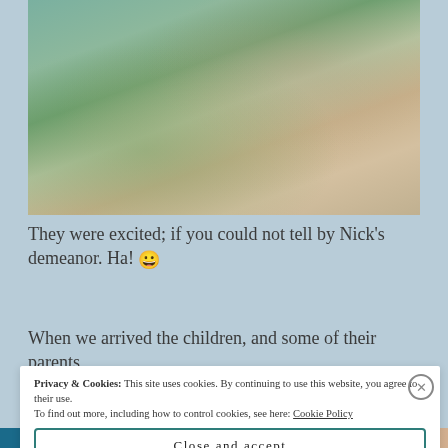[Figure (photo): Group of hikers/tourists posing on rocky terrain near a creek with green vegetation and rocks in the background]
They were excited; if you could not tell by Nick's demeanor. Ha! 😀
When we arrived the children, and some of their parents,
Privacy & Cookies: This site uses cookies. By continuing to use this website, you agree to their use. To find out more, including how to control cookies, see here: Cookie Policy
Close and accept